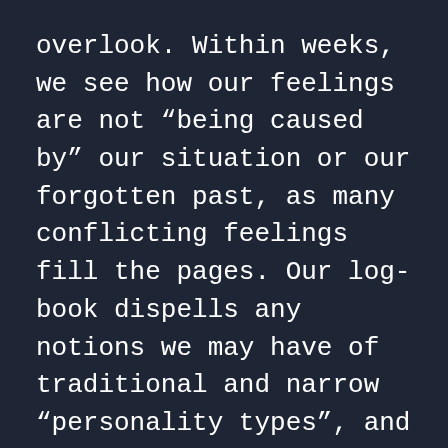overlook. Within weeks, we see how our feelings are not “being caused by” our situation or our forgotten past, as many conflicting feelings fill the pages. Our log-book dispells any notions we may have of traditional and narrow “personality types”, and does this directly in the context of our everyday life.
.
Human beings remember about 10% what they read, 20% what they hear, and 90% what they do. In CL, We grasp our lesson by practice in our own gardens, whatever our